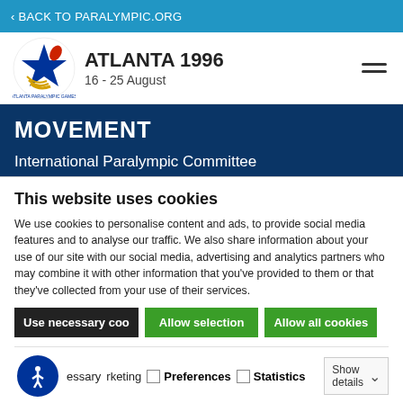BACK TO PARALYMPIC.ORG
ATLANTA 1996
16 - 25 August
MOVEMENT
International Paralympic Committee
Adenauerallee 212-214, 53113 Bonn, Germany
This website uses cookies
We use cookies to personalise content and ads, to provide social media features and to analyse our traffic. We also share information about your use of our site with our social media, advertising and analytics partners who may combine it with other information that you've provided to them or that they've collected from your use of their services.
Use necessary cookies | Allow selection | Allow all cookies
Necessary | Preferences | Statistics | Show details